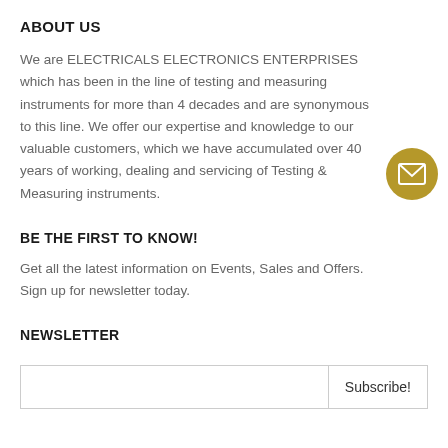ABOUT US
We are ELECTRICALS ELECTRONICS ENTERPRISES which has been in the line of testing and measuring instruments for more than 4 decades and are synonymous to this line. We offer our expertise and knowledge to our valuable customers, which we have accumulated over 40 years of working, dealing and servicing of Testing & Measuring instruments.
BE THE FIRST TO KNOW!
Get all the latest information on Events, Sales and Offers.
Sign up for newsletter today.
NEWSLETTER